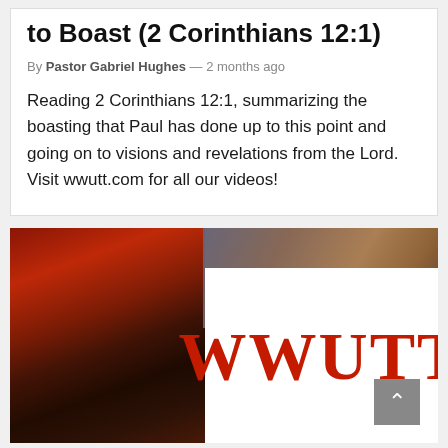to Boast (2 Corinthians 12:1)
By Pastor Gabriel Hughes — 2 months ago
Reading 2 Corinthians 12:1, summarizing the boasting that Paul has done up to this point and going on to visions and revelations from the Lord. Visit wwutt.com for all our videos!
[Figure (photo): Thumbnail image showing a religious painting on the left side and a white panel on the right displaying the red bold text 'WWUTT'. A scroll-to-top button is visible in the bottom-right corner.]